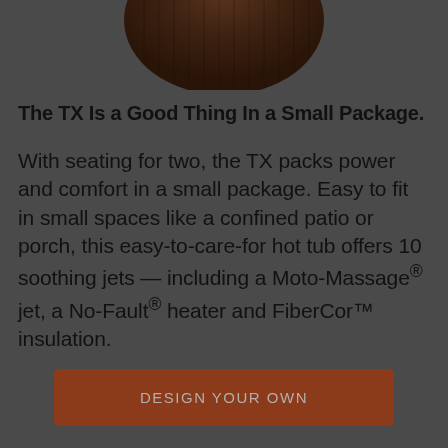[Figure (photo): Partial view of a dark brown hot tub from above, showing the rounded top edge against a gray background]
The TX Is a Good Thing In a Small Package.
With seating for two, the TX packs power and comfort in a small package. Easy to fit in small spaces like a confined patio or porch, this easy-to-care-for hot tub offers 10 soothing jets — including a Moto-Massage® jet, a No-Fault® heater and FiberCor™ insulation.
DESIGN YOUR OWN